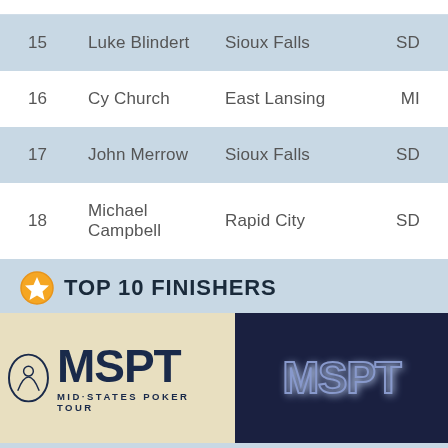| # | Name | City | State |
| --- | --- | --- | --- |
| 15 | Luke Blindert | Sioux Falls | SD |
| 16 | Cy Church | East Lansing | MI |
| 17 | John Merrow | Sioux Falls | SD |
| 18 | Michael Campbell | Rapid City | SD |
TOP 10 FINISHERS
[Figure (photo): Two MSPT (Mid-States Poker Tour) logo images side by side — left shows the MSPT logo on a light beige background with 'MID-STATES POKER TOUR' text below, right shows the MSPT letters in a glowing blue style on a dark navy background.]